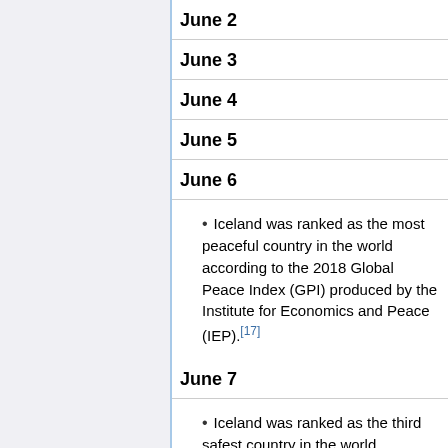June 2
June 3
June 4
June 5
June 6
Iceland was ranked as the most peaceful country in the world according to the 2018 Global Peace Index (GPI) produced by the Institute for Economics and Peace (IEP).[17]
June 7
Iceland was ranked as the third safest country in the world according to the annual Gallup Global Law and Order report published on 7 June